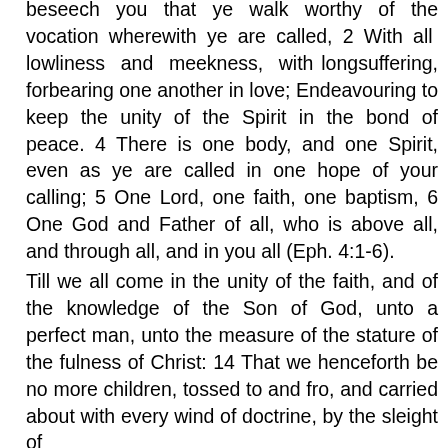beseech you that ye walk worthy of the vocation wherewith ye are called, 2 With all lowliness and meekness, with longsuffering, forbearing one another in love; Endeavouring to keep the unity of the Spirit in the bond of peace. 4 There is one body, and one Spirit, even as ye are called in one hope of your calling; 5 One Lord, one faith, one baptism, 6 One God and Father of all, who is above all, and through all, and in you all (Eph. 4:1-6).
Till we all come in the unity of the faith, and of the knowledge of the Son of God, unto a perfect man, unto the measure of the stature of the fulness of Christ: 14 That we henceforth be no more children, tossed to and fro, and carried about with every wind of doctrine, by the sleight of